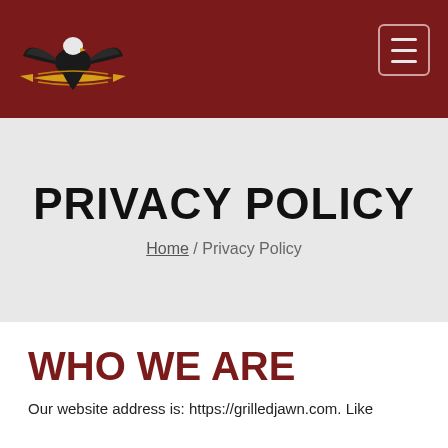[Figure (logo): Eagle logo with banner/ribbon, gold and black on dark red background]
PRIVACY POLICY
Home / Privacy Policy
WHO WE ARE
Our website address is: https://grilledjawn.com. Like